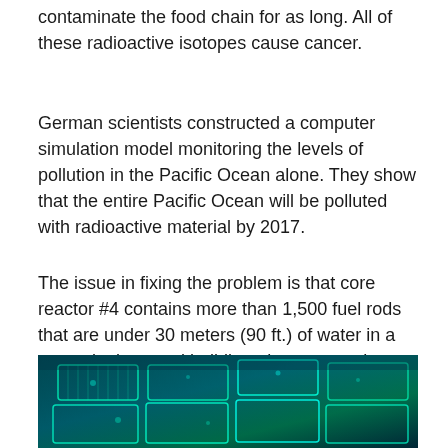contaminate the food chain for as long.  All of these radioactive isotopes cause cancer.
German scientists constructed a computer simulation model monitoring the levels of pollution in the Pacific Ocean alone.  They show that the entire Pacific Ocean will be polluted with radioactive material by 2017.
The issue in fixing the problem is that core reactor #4 contains more than 1,500 fuel rods that are under 30 meters (90 ft.) of water in a severely damaged building above ground.
[Figure (photo): Underwater photo of nuclear fuel rods in a storage pool, glowing blue-green with Cherenkov radiation. The rods appear arranged in a grid pattern under water.]